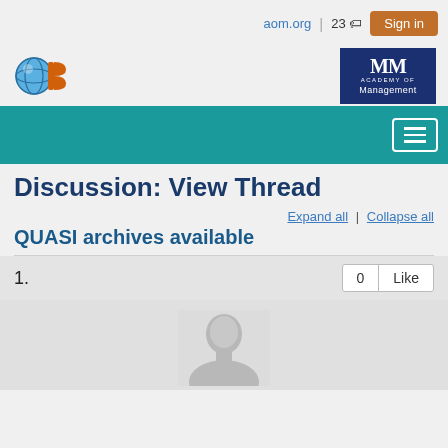aom.org | 23 🏷 Sign in
[Figure (logo): OB3 logo - blue globe with orange circular shape]
[Figure (logo): Academy of Management logo - dark blue box with stylized M]
Discussion: View Thread
Expand all | Collapse all
QUASI archives available
1.
0  Like
[Figure (photo): Generic user profile avatar - grey silhouette of a person]